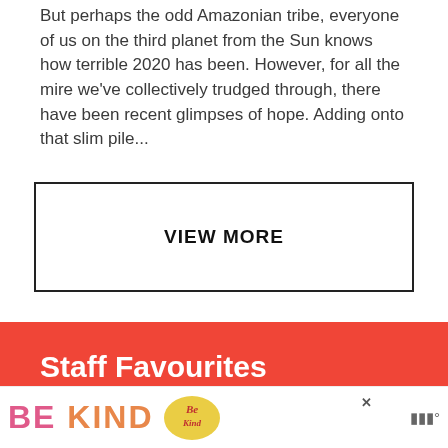But perhaps the odd Amazonian tribe, everyone of us on the third planet from the Sun knows how terrible 2020 has been. However, for all the mire we've collectively trudged through, there have been recent glimpses of hope. Adding onto that slim pile...
VIEW MORE
Staff Favourites
[Figure (photo): Interior photo of a room with wooden ceiling beams and a hanging pendant lamp]
[Figure (infographic): Advertisement banner reading BE KIND with decorative script logo and music service logo]